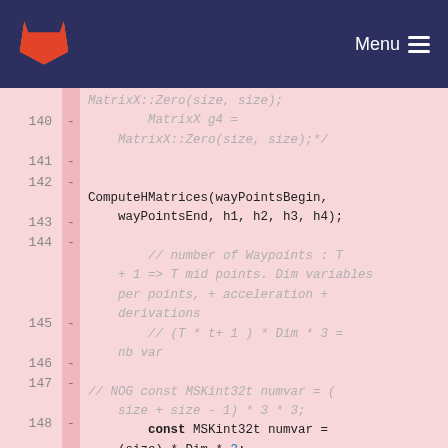GitLab Menu
Code diff showing lines 140-149 of a C++ source file
140 - MatrixX g4 = MatrixX::Zero(size, size);*/
141 -
142 - ComputeHMatrices(wayPointsBegin, wayPointsEnd, h1, h2, h3, h4);
143 -
144 - // number of Waypoints : T + 1 => T mid points. Dim variables per points, + acceleration + derivations
145 - // (T * t+ 1 ) * Dim * 3 = nb var
146 -
147 - // NOG const MSKint32t numvar = (size + size - 1) * 3 * 3;
148 - const MSKint32t numvar = (size) * Dim * 3;
149 - /*